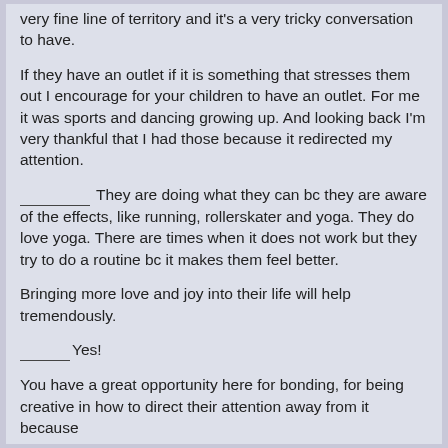very fine line of territory and it's a very tricky conversation to have.
If they have an outlet if it is something that stresses them out I encourage for your children to have an outlet. For me it was sports and dancing growing up. And looking back I'm very thankful that I had those because it redirected my attention.
____________ They are doing what they can bc they are aware of the effects, like running, rollerskater and yoga. They do love yoga. There are times when it does not work but they try to do a routine bc it makes them feel better.
Bringing more love and joy into their life will help tremendously.
_______Yes!
You have a great opportunity here for bonding, for being creative in how to direct their attention away from it because